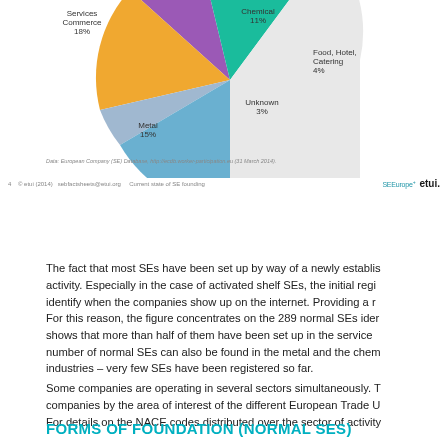[Figure (pie-chart): SE sectors of activity]
Data: European Company (SE) Database, http://ecdb.worker-participation.eu (31 March 2014).
© etui (2014) · sebfactsheets@etui.org · Current state of SE founding
The fact that most SEs have been set up by way of a newly established activity. Especially in the case of activated shelf SEs, the initial registered activity. identify when the companies show up on the internet. Providing a r
For this reason, the figure concentrates on the 289 normal SEs identified shows that more than half of them have been set up in the service number of normal SEs can also be found in the metal and the chem industries – very few SEs have been registered so far.
Some companies are operating in several sectors simultaneously. T companies by the area of interest of the different European Trade U For details on the NACE codes distributed over the sector of activity
FORMS OF FOUNDATION (NORMAL SES)